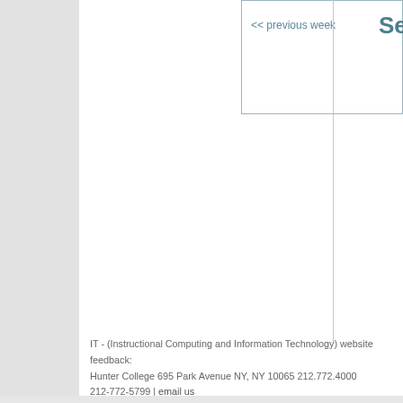<< previous week
Se
IT - (Instructional Computing and Information Technology) website feedback:
Hunter College 695 Park Avenue NY, NY 10065 212.772.4000
212-772-5799 | email us
CUNY Alert | Jobs | Public Safety | Website Feedback | Disclaimer | Privacy P
HUNTER COLLEGE
695 Park Ave
NY, NY 10065
212.772.4000